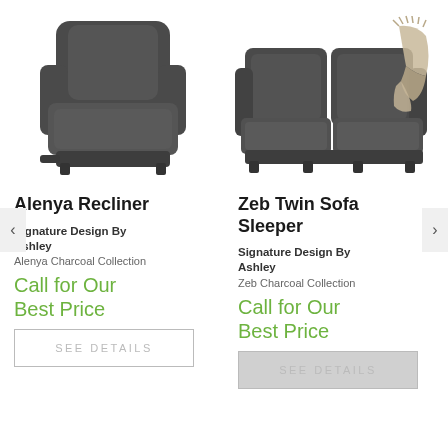[Figure (photo): Dark charcoal recliner chair - Alenya Recliner by Signature Design By Ashley]
[Figure (photo): Dark charcoal twin sofa sleeper with throw blanket - Zeb Twin Sofa Sleeper by Signature Design By Ashley]
Alenya Recliner
Zeb Twin Sofa Sleeper
Signature Design By Ashley
Signature Design By Ashley
Alenya Charcoal Collection
Zeb Charcoal Collection
Call for Our Best Price
Call for Our Best Price
SEE DETAILS
SEE DETAILS